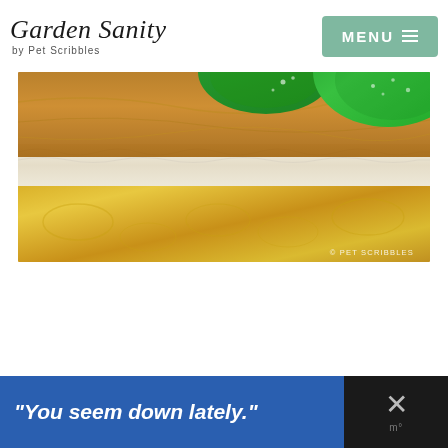Garden Sanity by Pet Scribbles — MENU
[Figure (photo): Close-up photo of a green sponge or scrubber over soapy water and a patterned yellow surface, with white foam visible. Copyright watermark reads © PET SCRIBBLES.]
“You seem down lately.”